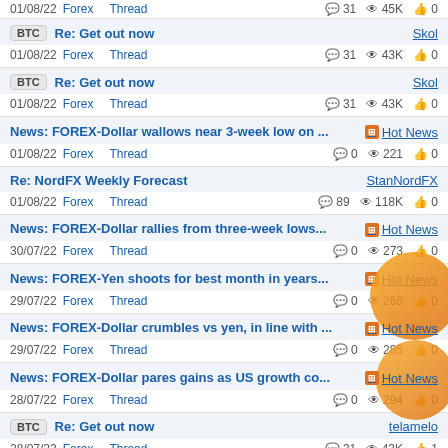01/08/22 Forex Thread 31 43K 0
BTC Re: Get out now Skol 01/08/22 Forex Thread 31 43K 0
BTC Re: Get out now Skol 01/08/22 Forex Thread 31 43K 0
News: FOREX-Dollar wallows near 3-week low on ... Hot News 01/08/22 Forex Thread 0 221 0
Re: NordFX Weekly Forecast StanNordFX 01/08/22 Forex Thread 89 118K 0
News: FOREX-Dollar rallies from three-week lows... Hot News 30/07/22 Forex Thread 0 273 0
News: FOREX-Yen shoots for best month in years... Hot News 29/07/22 Forex Thread 0 266 0
News: FOREX-Dollar crumbles vs yen, in line with ... Hot News 29/07/22 Forex Thread 0 285 0
News: FOREX-Dollar pares gains as US growth co... Hot News 28/07/22 Forex Thread 0 294 0
BTC Re: Get out now telamelo 28/07/22 Forex Thread 31 43K 1